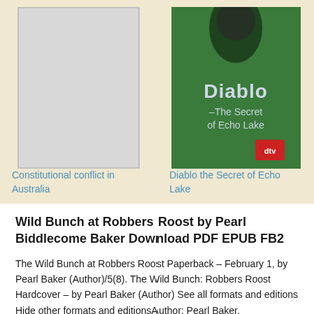[Figure (illustration): Book cover placeholder - grey rectangle for 'Constitutional conflict in Australia']
Constitutional conflict in Australia
[Figure (photo): Book cover for 'Diablo the Secret of Echo Lake' - green cover with person and title text]
Diablo the Secret of Echo Lake
Wild Bunch at Robbers Roost by Pearl Biddlecome Baker Download PDF EPUB FB2
The Wild Bunch at Robbers Roost Paperback – February 1, by Pearl Baker (Author)/5(8). The Wild Bunch: Robbers Roost Hardcover – by Pearl Baker (Author) See all formats and editions Hide other formats and editionsAuthor: Pearl Baker.